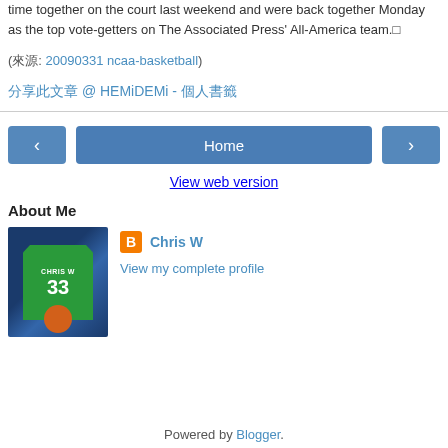time together on the court last weekend and were back together Monday as the top vote-getters on The Associated Press' All-America team.
(來源: 20090331 ncaa-basketball)
分享此文章 @ HEMiDEMi - 個人書籤
Home
View web version
About Me
Chris W
View my complete profile
Powered by Blogger.